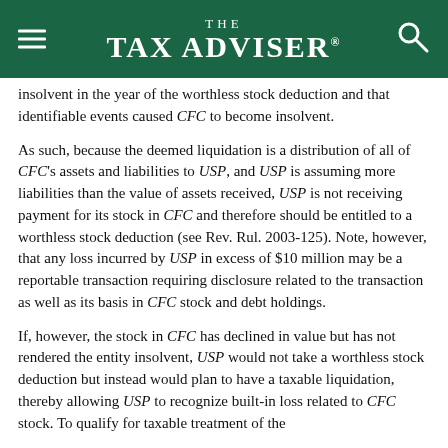THE TAX ADVISER
insolvent in the year of the worthless stock deduction and that identifiable events caused CFC to become insolvent.
As such, because the deemed liquidation is a distribution of all of CFC's assets and liabilities to USP, and USP is assuming more liabilities than the value of assets received, USP is not receiving payment for its stock in CFC and therefore should be entitled to a worthless stock deduction (see Rev. Rul. 2003-125). Note, however, that any loss incurred by USP in excess of $10 million may be a reportable transaction requiring disclosure related to the transaction as well as its basis in CFC stock and debt holdings.
If, however, the stock in CFC has declined in value but has not rendered the entity insolvent, USP would not take a worthless stock deduction but instead would plan to have a taxable liquidation, thereby allowing USP to recognize built-in loss related to CFC stock. To qualify for taxable treatment of the